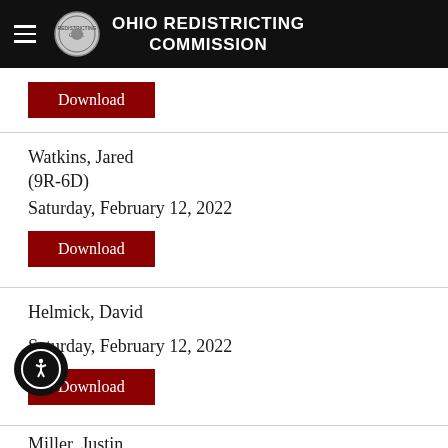OHIO REDISTRICTING COMMISSION
Download
Watkins, Jared
(9R-6D)
Saturday, February 12, 2022
Download
Helmick, David
Saturday, February 12, 2022
Download
Miller, Justin